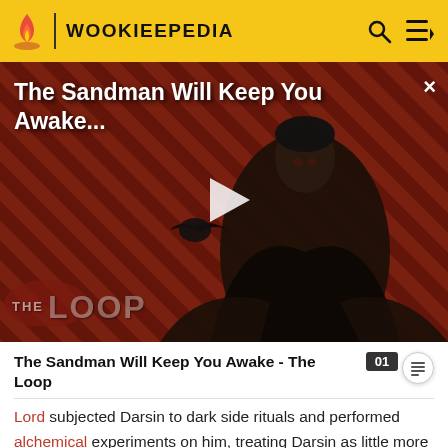WOOKIEEPEDIA
[Figure (screenshot): Video thumbnail for 'The Sandman Will Keep You Awake - The Loop' showing a dark-cloaked figure against a red and black diagonal striped background, with a play button overlay and 'THE LOOP' watermark. Title text overlaid at top left.]
The Sandman Will Keep You Awake - The Loop
Lord subjected Darsin to dark side rituals and performed alchemical experiments on him, treating Darsin as little more than a slave. To reflect Darsin's lowly position, a